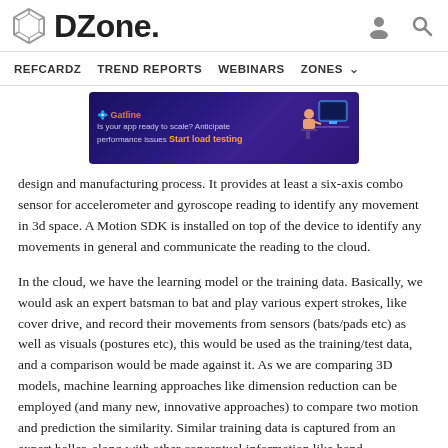DZone. [nav: REFCARDZ  TREND REPORTS  WEBINARS  ZONES]
[Figure (infographic): Gatline ad banner: 'Is your app ready to scale? Anticipate performance issues Start load testing' with an illustration of a person at a computer desk on a dark purple background.]
design and manufacturing process. It provides at least a six-axis combo sensor for accelerometer and gyroscope reading to identify any movement in 3d space. A Motion SDK is installed on top of the device to identify any movements in general and communicate the reading to the cloud.
In the cloud, we have the learning model or the training data. Basically, we would ask an expert batsman to bat and play various expert strokes, like cover drive, and record their movements from sensors (bats/pads etc) as well as visuals (postures etc), this would be used as the training/test data, and a comparison would be made against it. As we are comparing 3D models, machine learning approaches like dimension reduction can be employed (and many new, innovative approaches) to compare two motion and prediction the similarity. Similar training data is captured from an expert baller, along with other conceptual information like hand movements, pitch angles, etc.